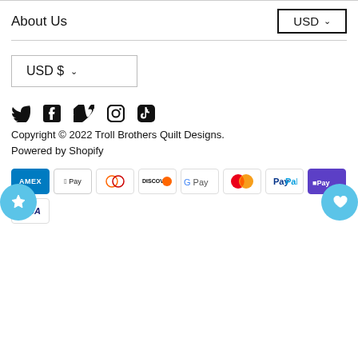About Us
USD ∨
USD $ ∨
[Figure (infographic): Social media icons: Twitter, Facebook, Vimeo, Instagram, TikTok]
Copyright © 2022 Troll Brothers Quilt Designs.
Powered by Shopify
[Figure (infographic): Payment method icons: Amex, Apple Pay, Diners Club, Discover, Google Pay, Mastercard, PayPal, Shop Pay, Visa]